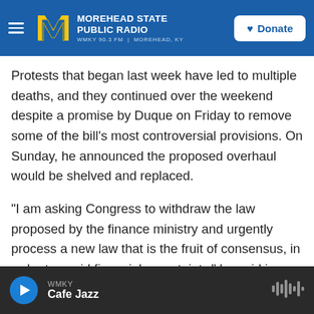MOREHEAD STATE PUBLIC RADIO — WMKY 90.3 FM | MOREHEAD, KY — Donate
Protests that began last week have led to multiple deaths, and they continued over the weekend despite a promise by Duque on Friday to remove some of the bill's most controversial provisions. On Sunday, he announced the proposed overhaul would be shelved and replaced.
"I am asking Congress to withdraw the law proposed by the finance ministry and urgently process a new law that is the fruit of consensus, in order to avoid financial uncertainty," he said in a video.
WMKY — Cafe Jazz